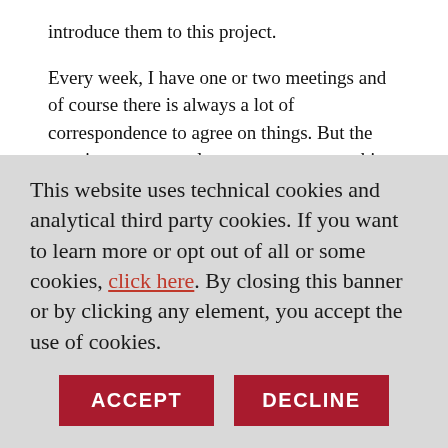introduce them to this project.

Every week, I have one or two meetings and of course there is always a lot of correspondence to agree on things. But the meetings are not only to create a partnership. Our museum is not well known by the community yet, so there is always a fear of falling into
This website uses technical cookies and analytical third party cookies. If you want to learn more or opt out of all or some cookies, click here. By closing this banner or by clicking any element, you accept the use of cookies.